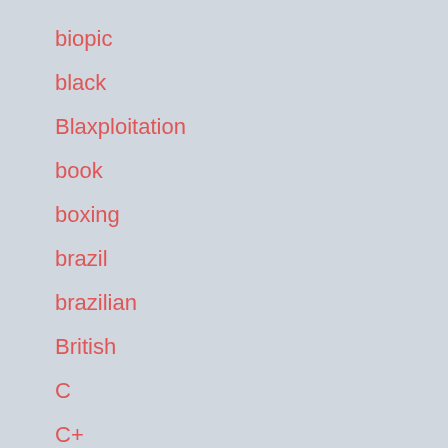biopic
black
Blaxploitation
book
boxing
brazil
brazilian
British
C
C+
C-
canada